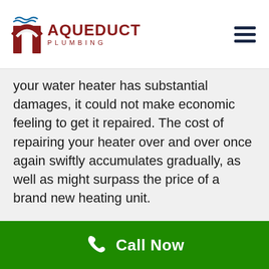[Figure (logo): Aqueduct Plumbing logo with stylized arch icon in dark red and wavy blue lines above, with company name AQUEDUCT PLUMBING in dark red text]
your water heater has substantial damages, it could not make economic feeling to get it repaired. The cost of repairing your heater over and over once again swiftly accumulates gradually, as well as might surpass the price of a brand new heating unit.
In such circumstances, call Aqueduct Plumbing to shop on your water heater for
Call Now